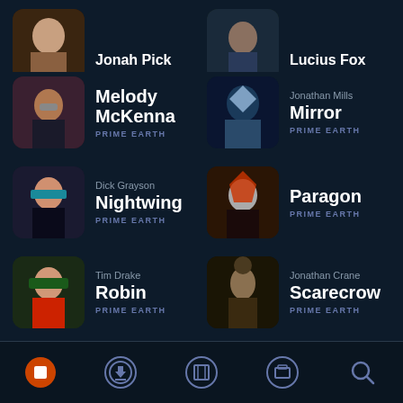Jonah Pick / PRIME EARTH
Lucius Fox / PRIME EARTH
Melody McKenna / PRIME EARTH
Jonathan Mills Mirror / PRIME EARTH
Dick Grayson Nightwing / PRIME EARTH
Paragon / PRIME EARTH
Tim Drake Robin / PRIME EARTH
Jonathan Crane Scarecrow / PRIME EARTH
Tony Zucco / PRIME EARTH
Vandar Adg Vandal Savage / PRIME EARTH
[Figure (screenshot): Mobile app navigation bar with 5 icons: home (orange circle with square), download, library, collections, and search]